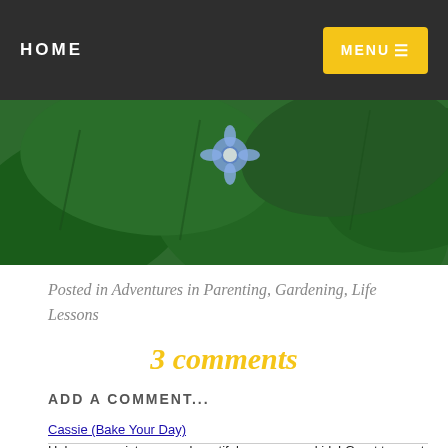HOME  MENU
[Figure (photo): Close-up of green leaves with a small blue/purple flower in the background]
Posted in Adventures in Parenting, Gardening, Life Lessons
3 comments
ADD A COMMENT...
Cassie (Bake Your Day)
Helen, your pictures are beautiful, so are your kids! Great to meet you the other night!  Reply
Stephanie
I love the photos taken with the flowers, and I love the way...